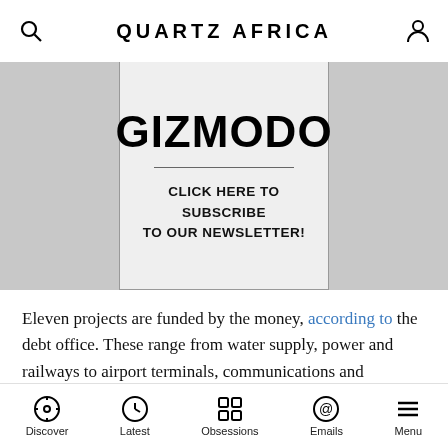QUARTZ AFRICA
[Figure (other): Gizmodo advertisement banner with text 'CLICK HERE TO SUBSCRIBE TO OUR NEWSLETTER!']
Eleven projects are funded by the money, according to the debt office. These range from water supply, power and railways to airport terminals, communications and agricultural processing.
“These are all concessional loans and there are no
Discover | Latest | Obsessions | Emails | Menu